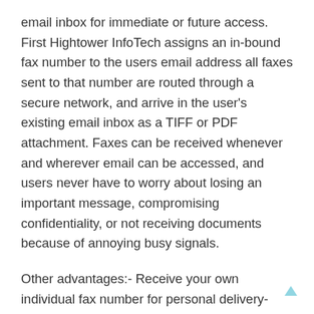email inbox for immediate or future access. First Hightower InfoTech assigns an in-bound fax number to the users email address all faxes sent to that number are routed through a secure network, and arrive in the user's existing email inbox as a TIFF or PDF attachment. Faxes can be received whenever and wherever email can be accessed, and users never have to worry about losing an important message, compromising confidentiality, or not receiving documents because of annoying busy signals.
Other advantages:- Receive your own individual fax number for personal delivery- Choose from local or toll-free area codes for hundreds of cities across North America, Europe, or Asia- Options available to port over your companies existing fax numbers- Receive multiple faxes simultaneously- Inbound fax numbers are never busy- Delete, print, forward or electronically store fax messages just like email- Eliminates